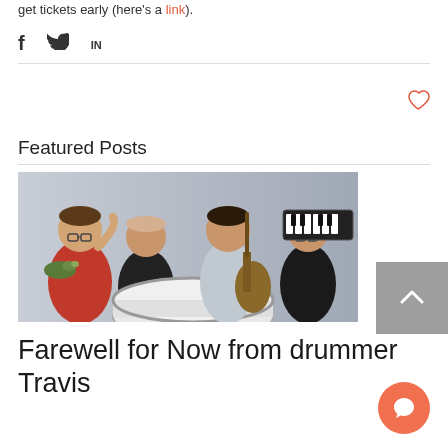get tickets early (here's a link).
[Figure (infographic): Social sharing icons: Facebook (f), Twitter bird, LinkedIn (in)]
[Figure (infographic): Heart/like icon (outline heart in red/salmon color)]
Featured Posts
[Figure (photo): Four band members posing: one in red shirt holding a duck decoy, one in black shirt, one in white/grey shirt playing guitar, one in black shirt holding a keyboard/synthesizer. A large drum is in front.]
Farewell for Now from drummer Travis